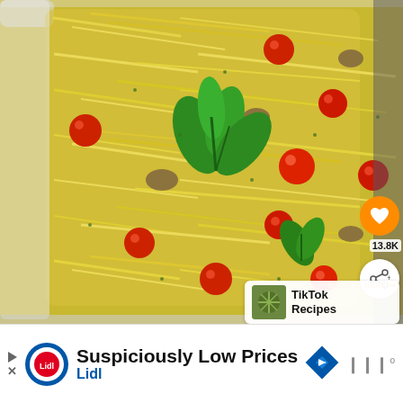[Figure (photo): Close-up photo of a baked spaghetti squash casserole dish with cherry tomatoes, fresh basil leaves, mushrooms, and herbs in a white baking dish]
13.8K
WHAT'S NEXT → TikTok Recipes
[Figure (other): Advertisement banner: Lidl - Suspiciously Low Prices]